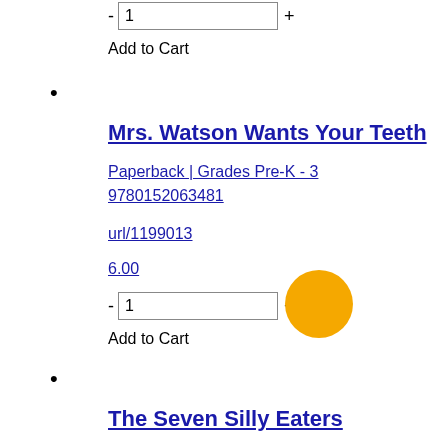- 1 +
Add to Cart
•
Mrs. Watson Wants Your Teeth
Paperback | Grades Pre-K - 3
9780152063481
url/1199013
6.00
- 1 +
Add to Cart
•
The Seven Silly Eaters